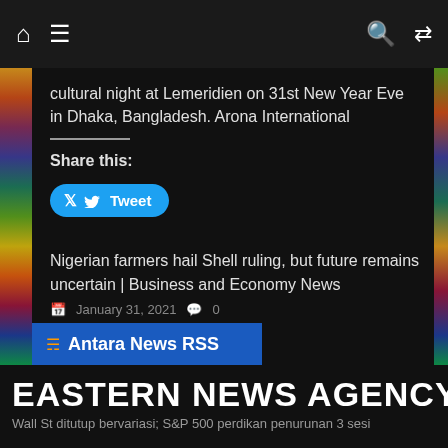Navigation bar with home, menu, search, and shuffle icons
cultural night at Lemeridien on 31st New Year Eve in Dhaka, Bangladesh. Arona International
Share this:
[Figure (other): Tweet button with Twitter bird icon]
Nigerian farmers hail Shell ruling, but future remains uncertain | Business and Economy News
January 31, 2021  0
Antara News RSS
EASTERN NEWS AGENCY (ENA   Wall St ditutup bervariasi; S&P 500 perdikan penurunan 3 sesi